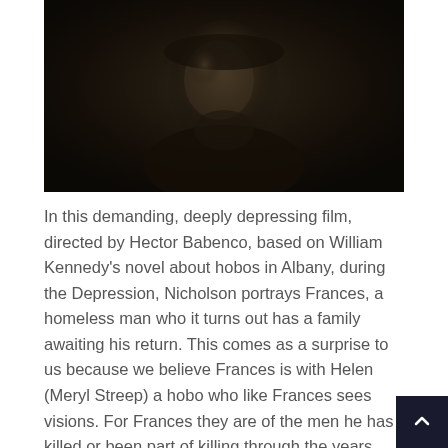[Figure (photo): Dark, moody still from a film showing a man's face partially lit in shadow, wearing a hat and jacket, looking directly at the camera with a somber expression.]
In this demanding, deeply depressing film, directed by Hector Babenco, based on William Kennedy's novel about hobos in Albany, during the Depression, Nicholson portrays Frances, a homeless man who it turns out has a family awaiting his return. This comes as a surprise to us because we believe Frances is with Helen (Meryl Streep) a hobo who like Frances sees visions. For Frances they are of the men he has killed or been part of killing through the years, though the ghost he wears hardest is that of his infant child, who he dropped on the floor, killing the child. For that reason, Frances has stayed away from his home, fearful of what they think, more ashamed of himself than they can ever. When he returns home to them with a turkey, he finds they welcome him with open arms, even offer him a bed, and place to